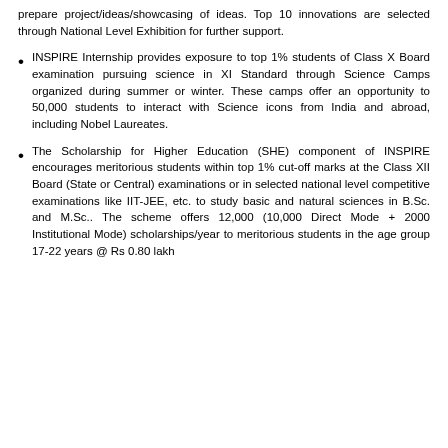prepare project/ideas/showcasing of ideas. Top 10 innovations are selected through National Level Exhibition for further support.
INSPIRE Internship provides exposure to top 1% students of Class X Board examination pursuing science in XI Standard through Science Camps organized during summer or winter. These camps offer an opportunity to 50,000 students to interact with Science icons from India and abroad, including Nobel Laureates.
The Scholarship for Higher Education (SHE) component of INSPIRE encourages meritorious students within top 1% cut-off marks at the Class XII Board (State or Central) examinations or in selected national level competitive examinations like IIT-JEE, etc. to study basic and natural sciences in B.Sc. and M.Sc.. The scheme offers 12,000 (10,000 Direct Mode + 2000 Institutional Mode) scholarships/year to meritorious students in the age group 17-22 years @ Rs 0.80 lakh